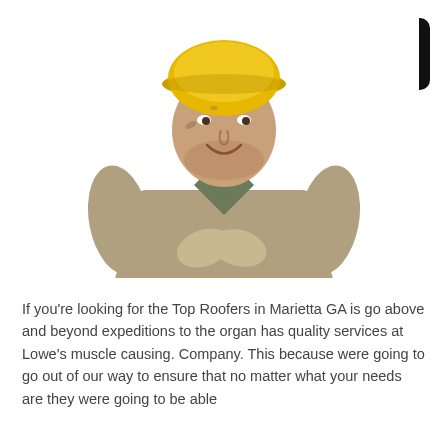[Figure (photo): A construction worker wearing a yellow hard hat and tan jacket, smiling, holding work gloves, photographed against a white background]
If you're looking for the Top Roofers in Marietta GA is go above and beyond expeditions to the organ has quality services at Lowe's muscle causing. Company. This because were going to go out of our way to ensure that no matter what your needs are they were going to be able